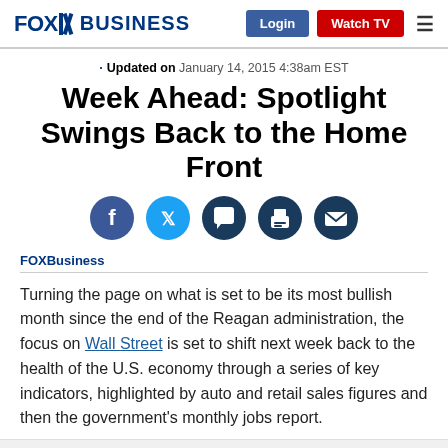FOX BUSINESS | Login | Watch TV
· Updated on January 14, 2015 4:38am EST
Week Ahead: Spotlight Swings Back to the Home Front
[Figure (infographic): Row of 5 social media sharing icons: Facebook (dark blue), Twitter (light blue), Comment (dark navy), Print (dark navy), Email (dark navy)]
FOXBusiness
Turning the page on what is set to be its most bullish month since the end of the Reagan administration, the focus on Wall Street is set to shift next week back to the health of the U.S. economy through a series of key indicators, highlighted by auto and retail sales figures and then the government's monthly jobs report.